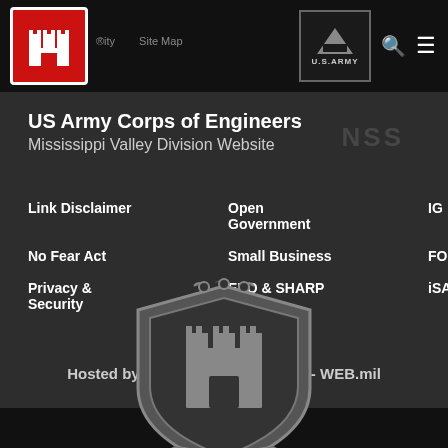US Army Corps of Engineers Mississippi Valley Division Website
Link Disclaimer
Open Government
IG
No Fear Act
Small Business
FOIA
Privacy & Security
EEO & SHARP
iSALUTE
Hosted by Defense Media Activity - WEB.mil
[Figure (logo): US Army Corps of Engineers castle logo shield with ESSAYONS motto]